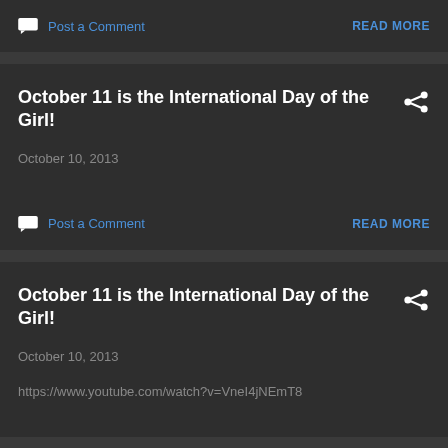Post a Comment
READ MORE
October 11 is the International Day of the Girl!
October 10, 2013
Post a Comment
READ MORE
October 11 is the International Day of the Girl!
October 10, 2013
https://www.youtube.com/watch?v=VneI4jNEmT8